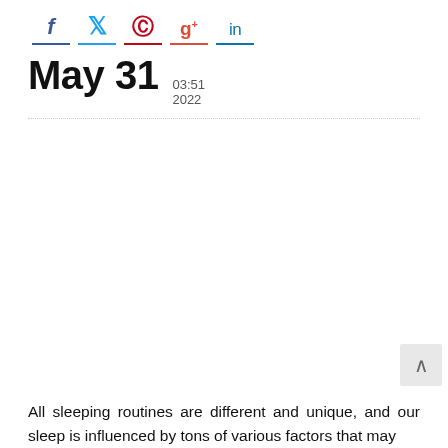[Figure (infographic): Social media sharing icons row: Facebook (f), Twitter (bird), Pinterest (P), Google+ (g+), LinkedIn (in), each with a colored underline bar]
May 31  03:51 2022
[Figure (photo): Large blank/empty image area below the dotted divider]
All sleeping routines are different and unique, and our sleep is influenced by tons of various factors that may